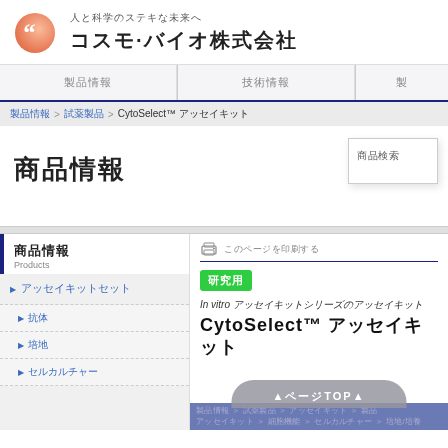人と科学のステキな未来へ コスモ·バイオ株式会社
製品情報　　　技術情報
製品情報 > 試薬製品 > CytoSelect™ アッセイキット
商品情報
商品検索
商品情報 Products
▶ アッセイキットセット
▶ 抗体
▶ 培地
▶ セルカルチャー
このページを印刷する
研究用
In vitro アッセイキットシリーズのアッセイキット
CytoSelect™ アッセイキット